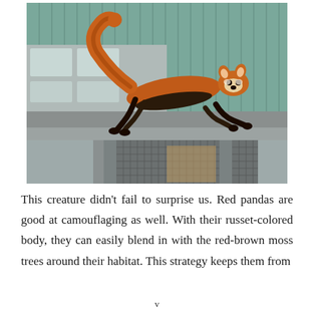[Figure (photo): A red panda running or leaping across the top edge of a building or enclosure structure. The animal has a bright russet-orange body with dark underbelly and legs. In the background is a teal/green corrugated metal wall and a grey metal roof with skylights. Below the animal is metal framework with wire mesh cage panels.]
This creature didn't fail to surprise us. Red pandas are good at camouflaging as well. With their russet-colored body, they can easily blend in with the red-brown moss trees around their habitat. This strategy keeps them from
v